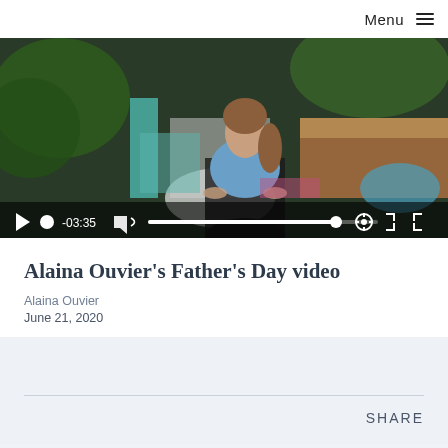Menu
[Figure (screenshot): Video player showing a woman sitting outdoors near a pool, wearing a blue polo shirt. Video controls bar at bottom shows play button, scrubber dot, timestamp -03:35, volume icon, progress bar, settings gear, and fullscreen icon.]
Alaina Ouvier's Father's Day video
Alaina Ouvier
June 21, 2020
SHARE